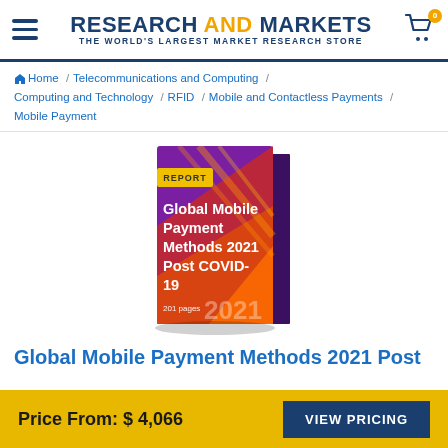RESEARCH AND MARKETS – THE WORLD'S LARGEST MARKET RESEARCH STORE
Home / Telecommunications and Computing / Computing and Technology / RFID / Mobile and Contactless Payments / Mobile Payment
[Figure (illustration): Book cover of report titled 'Global Mobile Payment Methods 2021 Post COVID-19', 201 pages, with red/orange/purple gradient design and yellow REPORT badge]
Global Mobile Payment Methods 2021 Post
Price From: $4,066   VIEW PRICING